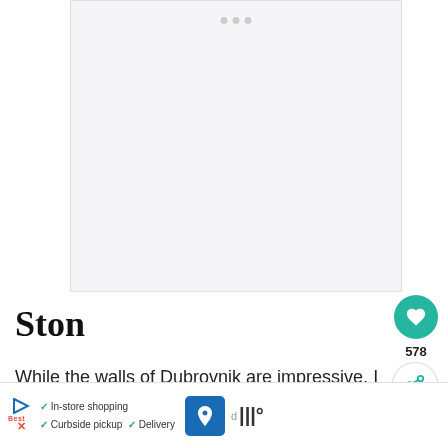[Figure (photo): Large image area (appears blank/loading), with three dots at top indicating image carousel]
Ston
While the walls of Dubrovnik are impressive. I would highly recommend a day trip t… where the city walls rival those of the Great
[Figure (infographic): What's Next card showing Day Trips from Tokyo You... with a red tulip field image]
[Figure (infographic): Advertisement bar: In-store shopping, Curbside pickup, Delivery with map icon]